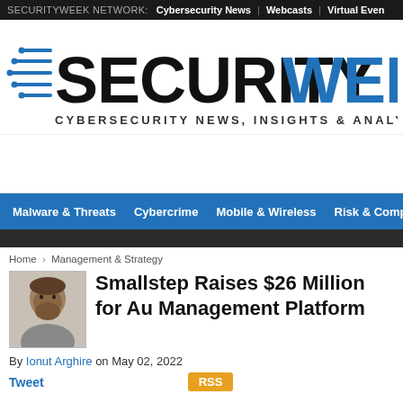SECURITYWEEK NETWORK: Cybersecurity News | Webcasts | Virtual Even
[Figure (logo): SecurityWeek logo with blue and black text reading SECURITYWEEK and tagline CYBERSECURITY NEWS, INSIGHTS & ANALYSIS]
Malware & Threats | Cybercrime | Mobile & Wireless | Risk & Complia
Home › Management & Strategy
Smallstep Raises $26 Million for Au Management Platform
By Ionut Arghire on May 02, 2022
Tweet    RSS